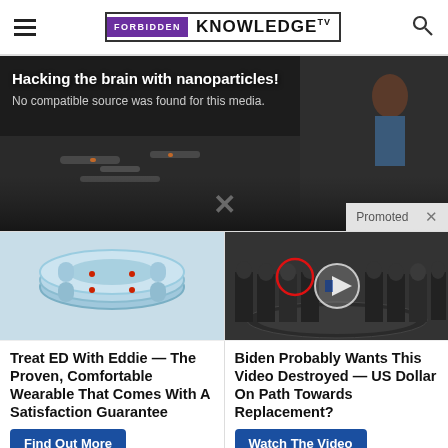FORBIDDEN KNOWLEDGE TV
[Figure (screenshot): Hero video area showing 'Hacking the brain with nanoparticles!' with message 'No compatible source was found for this media.' on dark background with Promoted badge]
[Figure (photo): Blue ring-shaped wearable medical device stacked]
[Figure (screenshot): Group of men in suits standing in formal setting, with red circle highlight and video play button overlay]
Treat ED With Eddie — The Proven, Comfortable Wearable That Comes With A Satisfaction Guarantee
Find Out More
Biden Probably Wants This Video Destroyed — US Dollar On Path Towards Replacement?
Watch The Video